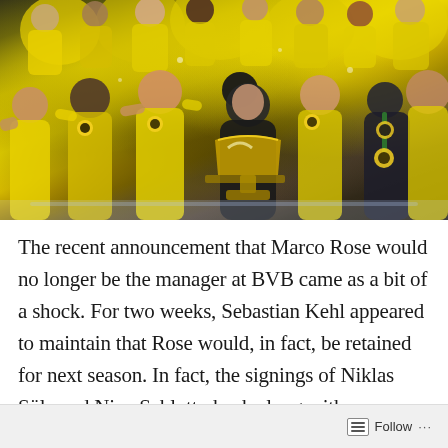[Figure (photo): Borussia Dortmund (BVB) players and staff celebrating a cup victory, wearing yellow and black kits with BVB logos, holding a trophy. A man in a dark jacket is in the center of the celebration, and another person in a dark jacket and cap is on the right wearing a green medal ribbon.]
The recent announcement that Marco Rose would no longer be the manager at BVB came as a bit of a shock. For two weeks, Sebastian Kehl appeared to maintain that Rose would, in fact, be retained for next season. In fact, the signings of Niklas Süle and Nico Schlotterbeck along with
Follow ···